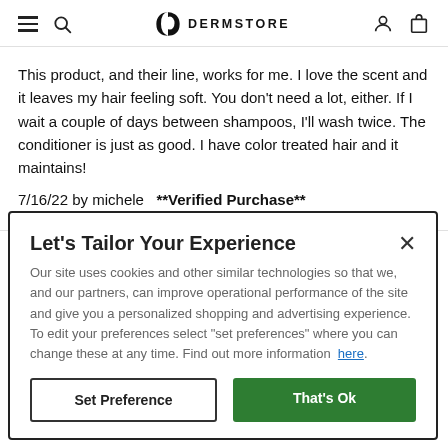DERMSTORE
This product, and their line, works for me. I love the scent and it leaves my hair feeling soft. You don't need a lot, either. If I wait a couple of days between shampoos, I'll wash twice. The conditioner is just as good. I have color treated hair and it maintains!
7/16/22 by michele  **Verified Purchase**
Was this review helpful to you?
Let's Tailor Your Experience

Our site uses cookies and other similar technologies so that we, and our partners, can improve operational performance of the site and give you a personalized shopping and advertising experience. To edit your preferences select "set preferences" where you can change these at any time. Find out more information here.

[Set Preference] [That's Ok]